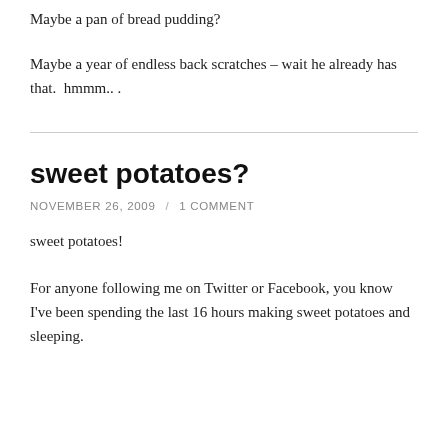Maybe a pan of bread pudding?
Maybe a year of endless back scratches – wait he already has that.  hmmm.. .
sweet potatoes?
NOVEMBER 26, 2009  /  1 COMMENT
sweet potatoes!
For anyone following me on Twitter or Facebook, you know I've been spending the last 16 hours making sweet potatoes and sleeping.